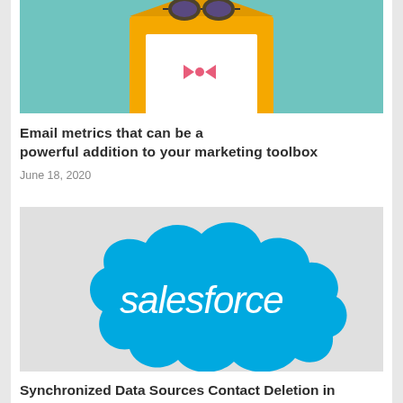[Figure (illustration): Envelope with letter and glasses illustration on teal background (partially visible, cropped at top)]
Email metrics that can be a powerful addition to your marketing toolbox
June 18, 2020
[Figure (logo): Salesforce logo — blue cloud shape with white 'salesforce' text — on light grey background]
Synchronized Data Sources Contact Deletion in